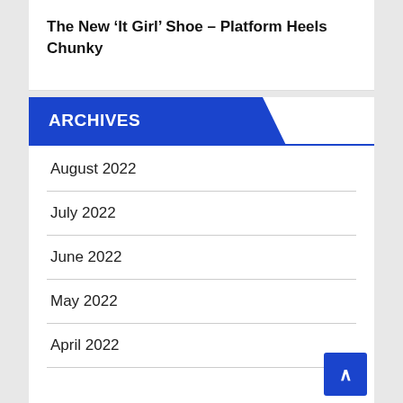The New ‘It Girl’ Shoe – Platform Heels Chunky
ARCHIVES
August 2022
July 2022
June 2022
May 2022
April 2022